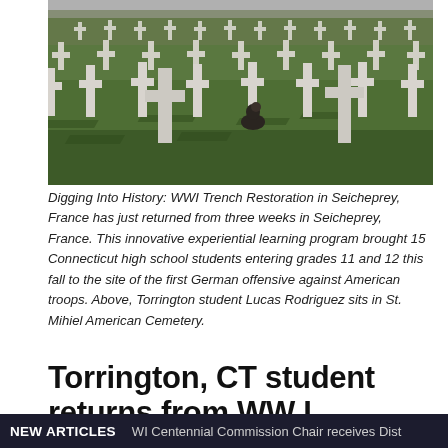[Figure (photo): A military cemetery with rows of white crosses on green grass. A person sits alone among the grave markers.]
Digging Into History: WWI Trench Restoration in Seicheprey, France has just returned from three weeks in Seicheprey, France. This innovative experiential learning program brought 15 Connecticut high school students entering grades 11 and 12 this fall to the site of the first German offensive against American troops. Above, Torrington student Lucas Rodriguez sits in St. Mihiel American Cemetery.
Torrington, CT student returns from WW I
NEW ARTICLES  WI Centennial Commission Chair receives Dist